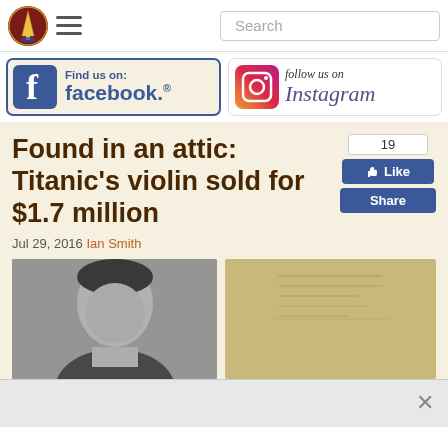[Figure (screenshot): Website navigation bar with logo, hamburger menu, and search box]
[Figure (screenshot): Facebook 'Find us on: facebook.' badge with blue border]
[Figure (screenshot): Instagram 'follow us on Instagram' badge]
Found in an attic: Titanic’s violin sold for $1.7 million
Jul 29, 2016 Ian Smith
[Figure (photo): Black and white portrait photo and a document/paper image]
[Figure (screenshot): Like count 19, Like button, Share button (Facebook widgets)]